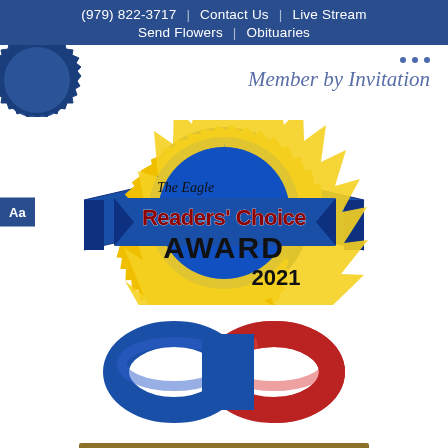(979) 822-3717 | Contact Us | Live Stream | Send Flowers | Obituaries
[Figure (logo): Blue seal/badge partial logo on left, dots and 'Member by Invitation' italic text on right]
[Figure (logo): The Eagle Readers' Choice Award 2021 circular badge with blue ribbon banner and yellow starburst]
[Figure (logo): Linked blue and red chain rings logo]
[Figure (other): Gold/tan bar with star icon and 'Read Our Reviews' text in white]